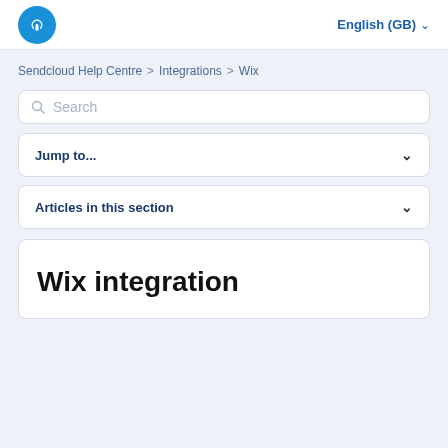English (GB)
Sendcloud Help Centre > Integrations > Wix
Search
Jump to...
Articles in this section
Wix integration